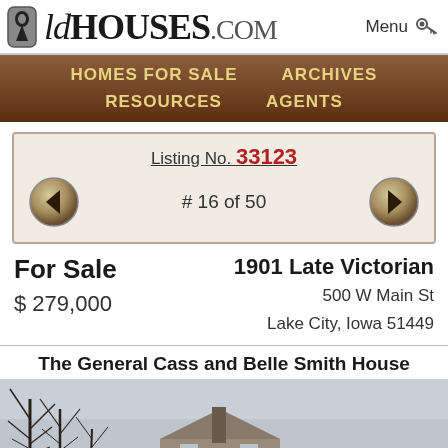OldHouses.com — Menu
HOMES FOR SALE   ARCHIVES   RESOURCES   AGENTS
Listing No. 33123
# 16 of 50
For Sale   1901 Late Victorian
$ 279,000   500 W Main St
Lake City, Iowa 51449
The General Cass and Belle Smith House
[Figure (photo): Photograph of a Victorian house exterior in winter, bare trees visible on left, chimney visible in foreground, overcast sky]
Return to Top